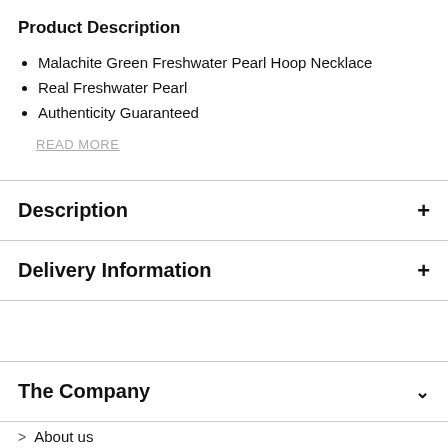Product Description
Malachite Green Freshwater Pearl Hoop Necklace
Real Freshwater Pearl
Authenticity Guaranteed
READ MORE
Description
Delivery Information
The Company
About us